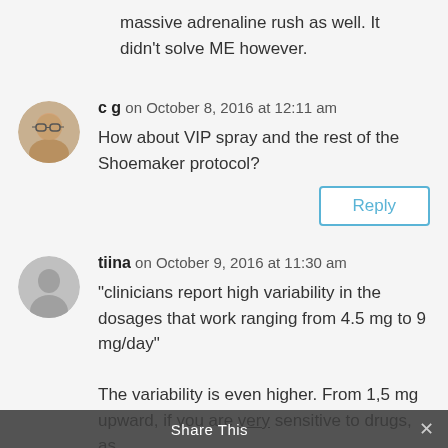massive adrenaline rush as well. It didn't solve ME however.
c g on October 8, 2016 at 12:11 am
How about VIP spray and the rest of the Shoemaker protocol?
tiina on October 9, 2016 at 11:30 am
“clinicians report high variability in the dosages that work ranging from 4.5 mg to 9 mg/day”

The variability is even higher. From 1,5 mg upward, if you are very sensitive to drugs, as
Share This